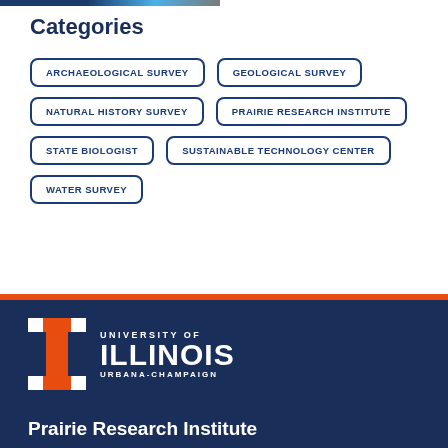[Figure (other): Partial colored navigation bar at top (blue, light blue, gray segments)]
Categories
ARCHAEOLOGICAL SURVEY
GEOLOGICAL SURVEY
NATURAL HISTORY SURVEY
PRAIRIE RESEARCH INSTITUTE
STATE BIOLOGIST
SUSTAINABLE TECHNOLOGY CENTER
WATER SURVEY
[Figure (logo): University of Illinois Urbana-Champaign logo: orange Block I mark and white text UNIVERSITY OF ILLINOIS URBANA-CHAMPAIGN on navy background]
Prairie Research Institute